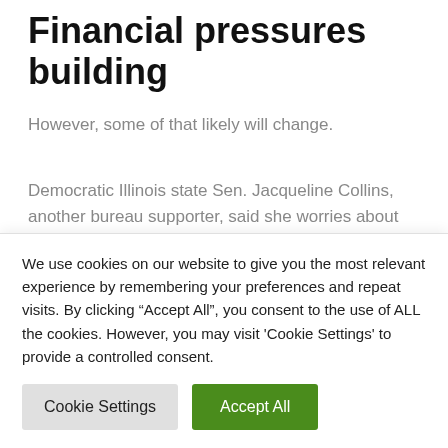Financial pressures building
However, some of that likely will change.
Democratic Illinois state Sen. Jacqueline Collins, another bureau supporter, said she worries about student loans, home foreclosures and tenant evictions after special pandemic protections expire in coming weeks. She and others also cited ballooning medical debts as a growing problem, as
We use cookies on our website to give you the most relevant experience by remembering your preferences and repeat visits. By clicking “Accept All”, you consent to the use of ALL the cookies. However, you may visit 'Cookie Settings' to provide a controlled consent.
Cookie Settings
Accept All